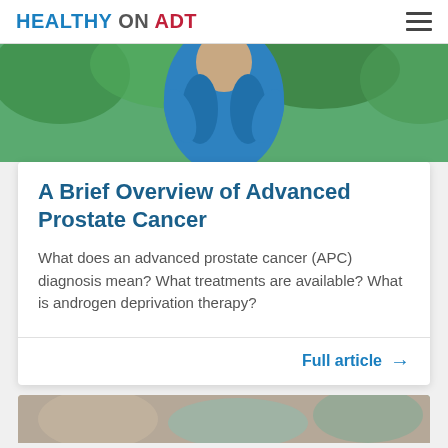HEALTHY ON ADT
[Figure (photo): Man in blue shirt running outdoors with green foliage in background]
A Brief Overview of Advanced Prostate Cancer
What does an advanced prostate cancer (APC) diagnosis mean? What treatments are available? What is androgen deprivation therapy?
Full article →
[Figure (photo): Partial view of second article card image at bottom of page]